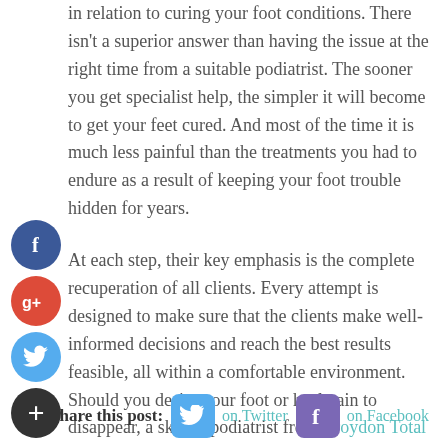in relation to curing your foot conditions. There isn't a superior answer than having the issue at the right time from a suitable podiatrist. The sooner you get specialist help, the simpler it will become to get your feet cured. And most of the time it is much less painful than the treatments you had to endure as a result of keeping your foot trouble hidden for years.
At each step, their key emphasis is the complete recuperation of all clients. Every attempt is designed to make sure that the clients make well-informed decisions and reach the best results feasible, all within a comfortable environment. Should you desire your foot or heel pain to disappear, a skilled podiatrist from Croydon Total Footcare is among the most excellent options.
Share this post: on Twitter on Facebook